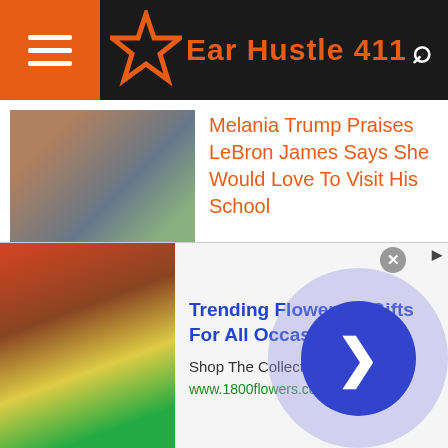Ear Hustle 411
Melania Trump Praises LeBron James Says She Would Love To Visit His School
White Man Pulls Black Man Having Seizure Off Train & Put Him On Platform So His Train Wouldn't Be Held Up
NBA Star Blake Griffin Is Ordered to Pay $258K A Month In Child Support
Trending Flowers & Gifts For All Occasions
Shop The Collection
www.1800flowers.com